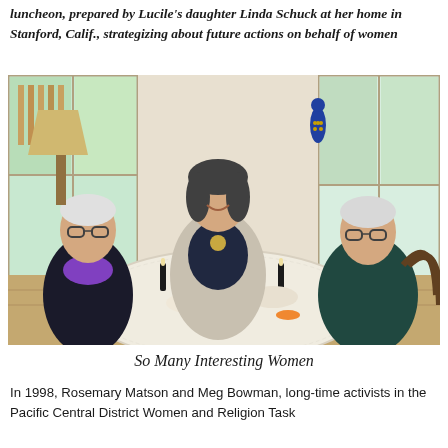luncheon, prepared by Lucile's daughter Linda Schuck at her home in Stanford, Calif., strategizing about future actions on behalf of women
[Figure (photo): Three people seated around a round dining table set with flowers, candles, glasses, and food. A woman on the left wears dark clothing with a purple scarf. A younger woman sits in the center smiling, wearing a light cardigan. An elderly person sits on the right. The room has large windows showing a garden outside, and a decorative figure hangs on the wall.]
So Many Interesting Women
In 1998, Rosemary Matson and Meg Bowman, long-time activists in the Pacific Central District Women and Religion Task